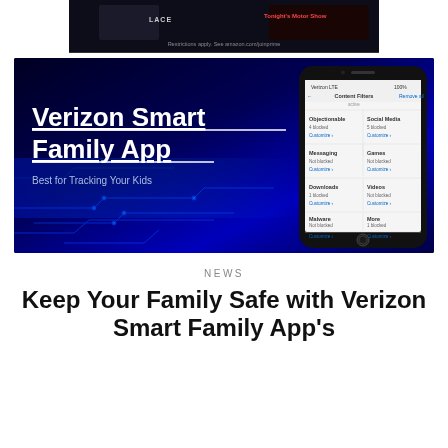[Figure (photo): Amazon Prime advertisement banner with dark background showing TV show imagery and text 'Restrictions apply. See amazon.com/joinprime']
[Figure (photo): Verizon Smart Family App promotional image with dark blue circuit board background, bold white underlined text 'Verizon Smart Family App' and subtitle 'Best for Tracking Your Kids', with a smartphone mockup showing Content Filters screen on the right side]
NEWS
Keep Your Family Safe with Verizon Smart Family App's